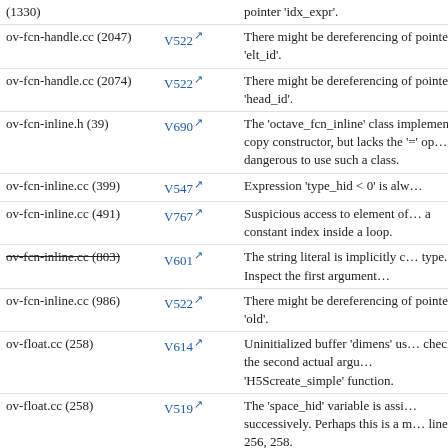| File | Code | Description |
| --- | --- | --- |
| (1330) |  | pointer 'idx_expr'. |
| ov-fcn-handle.cc (2047) | V522 | There might be dereferencing of pointer 'elt_id'. |
| ov-fcn-handle.cc (2074) | V522 | There might be dereferencing of pointer 'head_id'. |
| ov-fcn-inline.h (39) | V690 | The 'octave_fcn_inline' class implements a copy constructor, but lacks the '=' operator. It is dangerous to use such a class. |
| ov-fcn-inline.cc (399) | V547 | Expression 'type_hid < 0' is always false. |
| ov-fcn-inline.cc (491) | V767 | Suspicious access to element of 'dims' array by a constant index inside a loop. |
| ov-fcn-inline.cc (803) | V601 | The string literal is implicitly cast to bool type. Inspect the first argument. |
| ov-fcn-inline.cc (986) | V522 | There might be dereferencing of pointer 'old'. |
| ov-float.cc (258) | V614 | Uninitialized buffer 'dimens' used. Consider checking the second actual argument of 'H5Screate_simple' function. |
| ov-float.cc (258) | V519 | The 'space_hid' variable is assigned values successively. Perhaps this is a mistake. Check lines: 256, 258. |
| ov-flt-complex.cc (70) | V550 | An odd precise comparison: probably better to use a comparison with defined precision: fabs(A - B) < Epsilon |